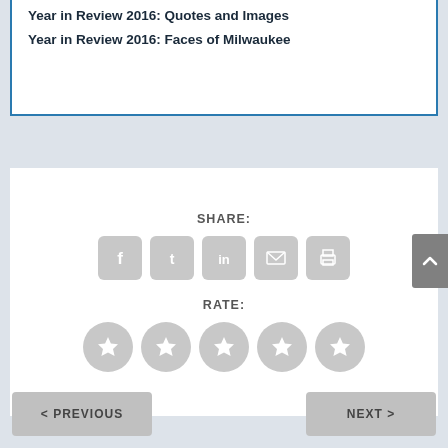Year in Review 2016: Quotes and Images
Year in Review 2016: Faces of Milwaukee
SHARE:
[Figure (infographic): Social share icons: Facebook, Twitter, LinkedIn, Email, Print — all grey rounded square buttons]
RATE:
[Figure (infographic): Five grey circular star rating icons]
< PREVIOUS
NEXT >